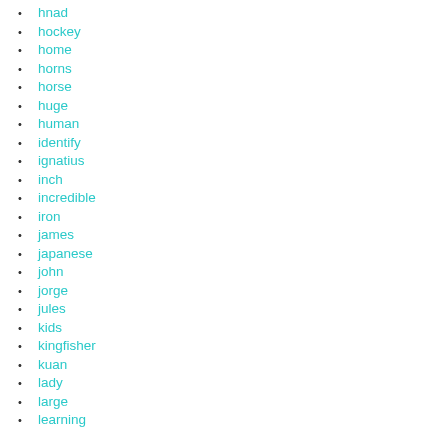hnad
hockey
home
horns
horse
huge
human
identify
ignatius
inch
incredible
iron
james
japanese
john
jorge
jules
kids
kingfisher
kuan
lady
large
learning